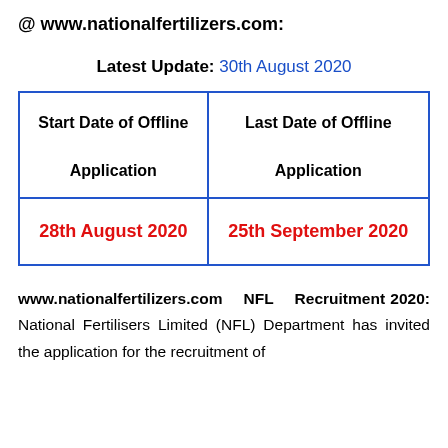@ www.nationalfertilizers.com:
Latest Update: 30th August 2020
| Start Date of Offline Application | Last Date of Offline Application |
| --- | --- |
| 28th August 2020 | 25th September 2020 |
www.nationalfertilizers.com NFL Recruitment 2020: National Fertilisers Limited (NFL) Department has invited the application for the recruitment of